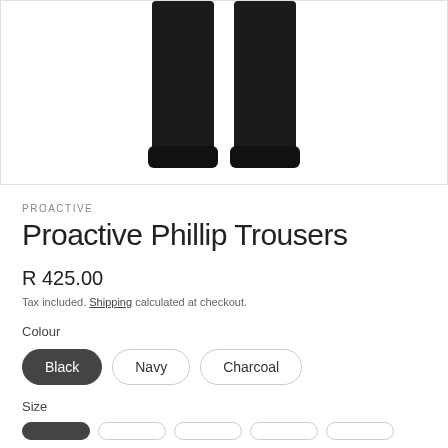[Figure (photo): Product photo of black trousers (Proactive Phillip Trousers) showing the lower legs and cuffed hems against a white background]
PROACTIVE
Proactive Phillip Trousers
R 425.00
Tax included. Shipping calculated at checkout.
Colour
Black
Navy
Charcoal
Size